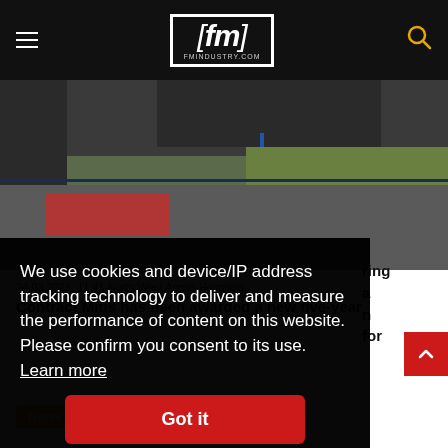fm — fmindustry.com
[Figure (photo): Aerial or elevated view of a hospital exterior car park/entrance area showing tarmac, red road markings, a fence, grass verge, and a person standing in a blue top. Dark building walls visible on left and top.]
24.03.2021, 11:41 North West Anglia Hospitals Contract Mitis has been awarded a new five-year
We use cookies and device/IP address tracking technology to deliver and measure the performance of content on this website. Please confirm you consent to its use.  Learn more
Got it
News